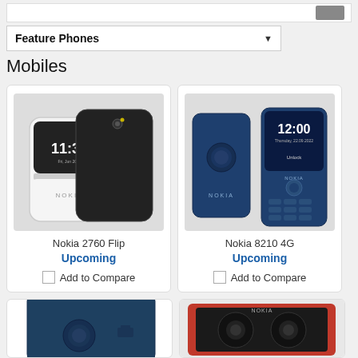[Figure (screenshot): Top bar with gray button on right]
[Figure (screenshot): Feature Phones dropdown selector]
Mobiles
[Figure (photo): Nokia 2760 Flip phone product image showing white and black variants]
Nokia 2760 Flip
Upcoming
Add to Compare
[Figure (photo): Nokia 8210 4G phone product image showing dark blue front and back]
Nokia 8210 4G
Upcoming
Add to Compare
[Figure (photo): Partial view of a blue Nokia feature phone]
[Figure (photo): Partial view of Nokia earphones in red/black packaging]